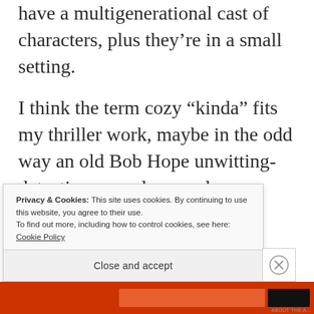have a multigenerational cast of characters, plus they’re in a small setting.
I think the term cozy “kinda” fits my thriller work, maybe in the odd way an old Bob Hope unwitting-detective comedy was also a thriller 🙂
Privacy & Cookies: This site uses cookies. By continuing to use this website, you agree to their use.
To find out more, including how to control cookies, see here: Cookie Policy
Close and accept